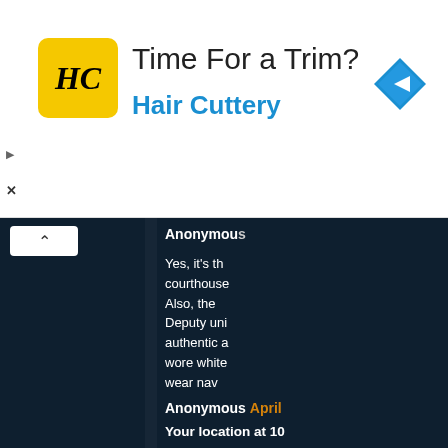[Figure (infographic): Hair Cuttery advertisement banner with yellow logo, text 'Time For a Trim?' and 'Hair Cuttery', and a blue navigation/directions icon on the right.]
Anonymous
Yes, it's th... courthouse... Also, the Deputy uni... authentic a... wore whit... wear nav... permittwd... patches h... for both de...
Reply
Anonymous April
Your location at 10